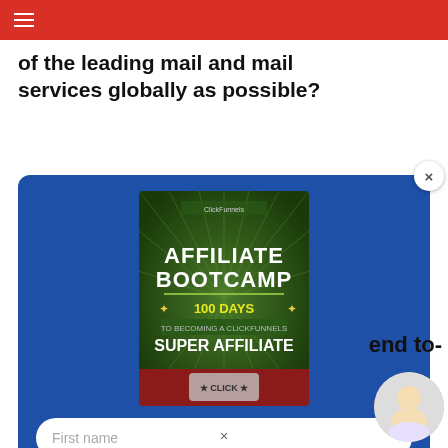≡
of the leading mail and mail services globally as possible?
[Figure (screenshot): A popup modal with blue background showing an Affiliate Bootcamp book cover (100 Days to Becoming a ClickFunnels Super Affiliate), a First name input field, a your@email.com input field, and a red Download Free Affiliate Guide button. A close (×) button is in the top-right corner of the modal.]
end to-
[Figure (photo): A circular avatar image of a woman sitting with a laptop, celebrating]